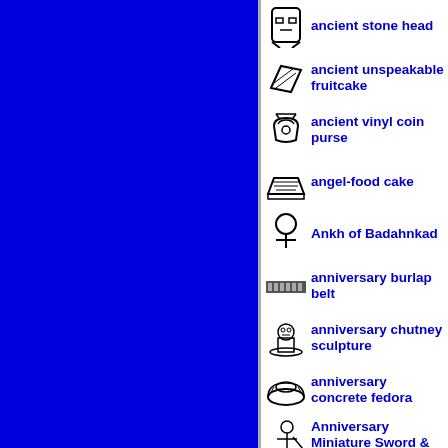[Figure (illustration): Large solid blue rectangle filling the left portion of the page]
ancient stone head
ancient unspeakable fruitcake
ancient vinyl coin purse
angel-food cake
Ankh of Badahnkad
anniversary burlap belt
anniversary chutney sculpture
anniversary concrete fedora
Anniversary Miniature Sword & Martini Guy
anniversary pewter cape
anniversary safety glass vest